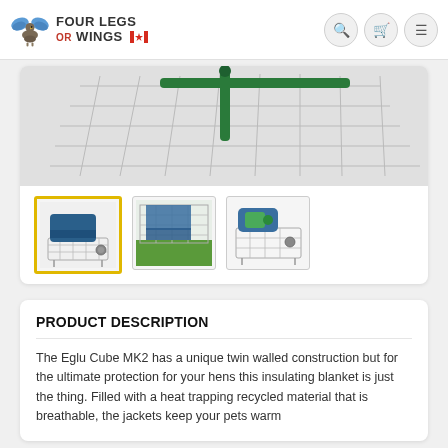FOUR LEGS OR WINGS
[Figure (photo): Main product photo area showing Eglu Cube MK2 with wire run enclosure, cropped at top]
[Figure (photo): Thumbnail 1 (active, yellow border): Eglu Cube MK2 with blue insulating jacket cover on wire enclosure]
[Figure (photo): Thumbnail 2: Top-down view of Eglu Cube MK2 with blue cover on green grass]
[Figure (photo): Thumbnail 3: Front view of Eglu Cube MK2 with blue cover on white background]
PRODUCT DESCRIPTION
The Eglu Cube MK2 has a unique twin walled construction but for the ultimate protection for your hens this insulating blanket is just the thing. Filled with a heat trapping recycled material that is breathable, the jackets keep your pets warm